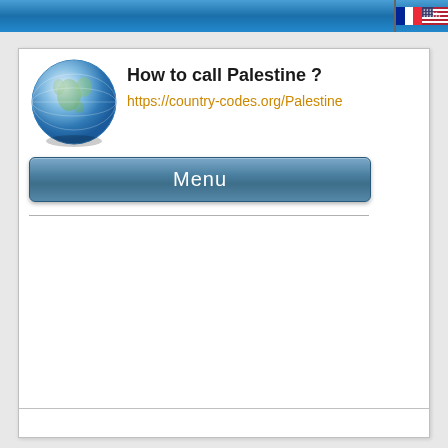How to call Palestine ?
https://country-codes.org/Palestine
Menu